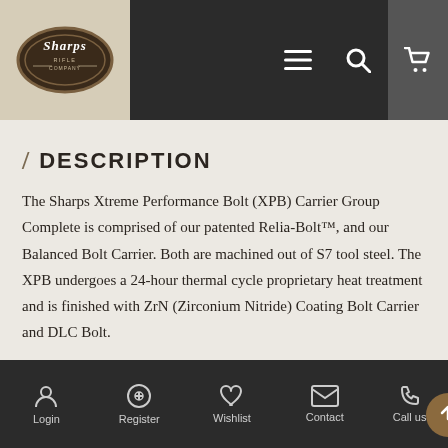[Figure (logo): Sharps Rifle Company logo in an oval, white text on dark brown, on a tan/beige background header area]
/ DESCRIPTION
The Sharps Xtreme Performance Bolt (XPB) Carrier Group Complete is comprised of our patented Relia-Bolt™, and our Balanced Bolt Carrier. Both are machined out of S7 tool steel. The XPB undergoes a 24-hour thermal cycle proprietary heat treatment and is finished with ZrN (Zirconium Nitride) Coating Bolt Carrier and DLC Bolt.
Login   Register   Wishlist   Contact   Call us